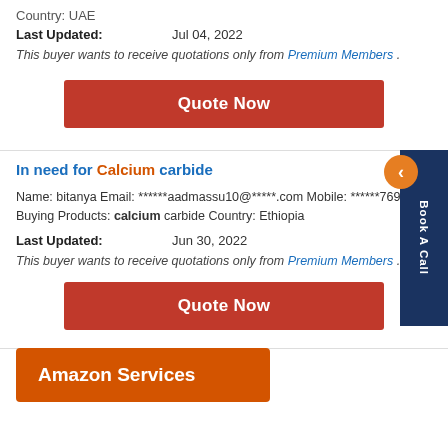Country: UAE
Last Updated:    Jul 04, 2022
This buyer wants to receive quotations only from Premium Members .
Quote Now
In need for Calcium carbide
Name: bitanya Email: ******aadmassu10@*****.com Mobile: ******769594 Buying Products: calcium carbide Country: Ethiopia
Last Updated:    Jun 30, 2022
This buyer wants to receive quotations only from Premium Members .
Quote Now
[Figure (screenshot): Amazon Services orange overlay button]
Anyone Selling Calcium carbonate